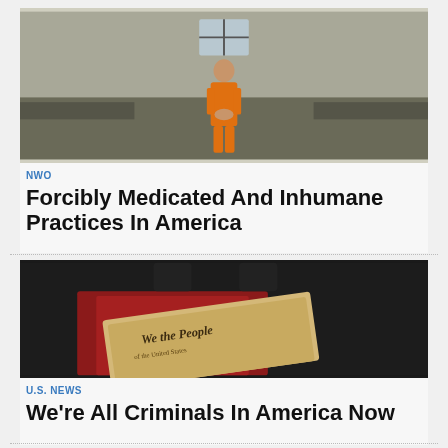[Figure (photo): A man in an orange prison jumpsuit standing in a jail cell with a small barred window]
NWO
Forcibly Medicated And Inhumane Practices In America
[Figure (photo): Hands holding the US Constitution document showing 'We the People' header, with a red fabric in the background]
U.S. NEWS
We're All Criminals In America Now